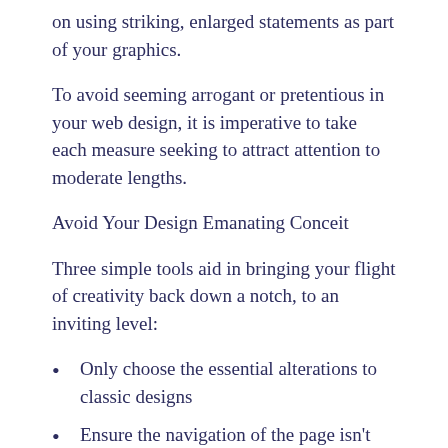on using striking, enlarged statements as part of your graphics.
To avoid seeming arrogant or pretentious in your web design, it is imperative to take each measure seeking to attract attention to moderate lengths.
Avoid Your Design Emanating Conceit
Three simple tools aid in bringing your flight of creativity back down a notch, to an inviting level:
Only choose the essential alterations to classic designs
Ensure the navigation of the page isn't compromised by overwhelming graphics
Do not keep your design too empty (as this may appear the classic attempt at nul-absolut sophistication)